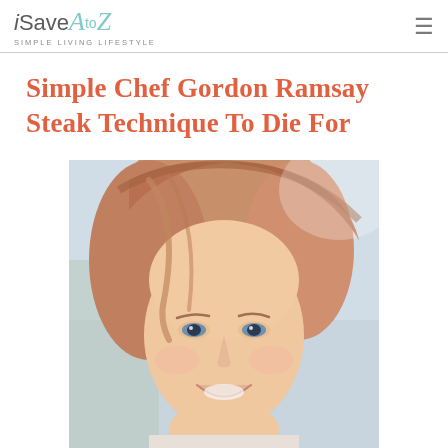iSaveAtoZ — SIMPLE LIVING LIFESTYLE
Simple Chef Gordon Ramsay Steak Technique To Die For
[Figure (photo): Close-up photo of a smiling young woman with reddish-blonde hair and blue eyes, photographed outdoors against a light background. The photo is cropped showing mainly her face and upper head.]